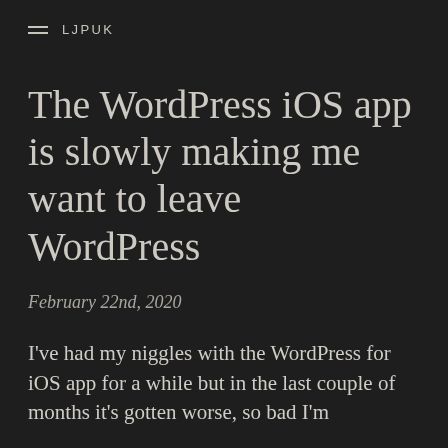LJPUK
The WordPress iOS app is slowly making me want to leave WordPress
February 22nd, 2020
I've had my niggles with the WordPress for iOS app for a while but in the last couple of months it's gotten worse, so bad I'm considering leaving. A concerned user of iOS